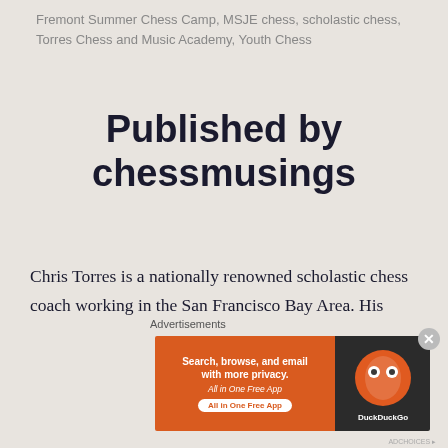Fremont Summer Chess Camp, MSJE chess, scholastic chess, Torres Chess and Music Academy, Youth Chess
Published by chessmusings
Chris Torres is a nationally renowned scholastic chess coach working in the San Francisco Bay Area. His classes have attracted players of strengths ranging from rank beginners to world champions. A chess professional since 1998, Chris is widely recognized as one of the main driving forces behind
[Figure (screenshot): DuckDuckGo advertisement banner: orange background with text 'Search, browse, and email with more privacy. All in One Free App' and DuckDuckGo logo on dark background]